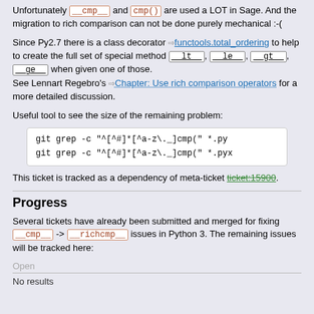Unfortunately __cmp__ and cmp() are used a LOT in Sage. And the migration to rich comparison can not be done purely mechanical :-(
Since Py2.7 there is a class decorator functools.total_ordering to help to create the full set of special method __lt__, __le__, __gt__, __ge__ when given one of those. See Lennart Regebro's Chapter: Use rich comparison operators for a more detailed discussion.
Useful tool to see the size of the remaining problem:
git grep -c "^[^#]*[^a-z\._]cmp(" *.py
git grep -c "^[^#]*[^a-z\._]cmp(" *.pyx
This ticket is tracked as a dependency of meta-ticket ticket:15900.
Progress
Several tickets have already been submitted and merged for fixing __cmp__ -> __richcmp__ issues in Python 3. The remaining issues will be tracked here:
Open
No results